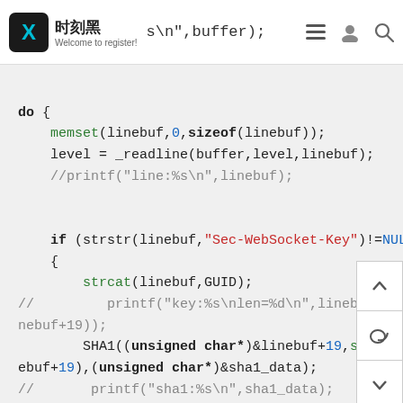时刻黑 Welcome to register! s\n",buffer);
do {
    memset(linebuf,0,sizeof(linebuf));
    level = _readline(buffer,level,linebuf);
    //printf("line:%s\n",linebuf);

    if (strstr(linebuf,"Sec-WebSocket-Key")!=NULL)
    {
        strcat(linebuf,GUID);
// printf("key:%s\nlen=%d\n",linebuf+19,strlen(linebuf+19));
        SHA1((unsigned char*)&linebuf+19,strlen(linebuf+19),(unsigned char*)&sha1_data);
//      printf("sha1:%s\n",sha1_data);